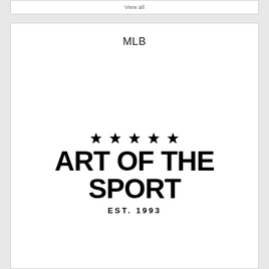View all
MLB
[Figure (logo): Art of the Sport logo with five stars above bold block text reading ART OF THE SPORT and EST. 1993 below]